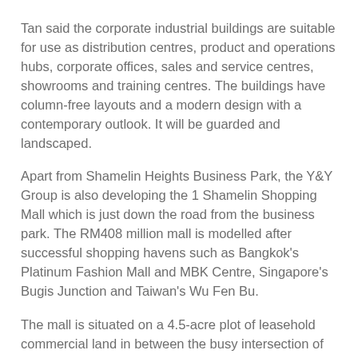Tan said the corporate industrial buildings are suitable for use as distribution centres, product and operations hubs, corporate offices, sales and service centres, showrooms and training centres. The buildings have column-free layouts and a modern design with a contemporary outlook. It will be guarded and landscaped.
Apart from Shamelin Heights Business Park, the Y&Y Group is also developing the 1 Shamelin Shopping Mall which is just down the road from the business park. The RM408 million mall is modelled after successful shopping havens such as Bangkok's Platinum Fashion Mall and MBK Centre, Singapore's Bugis Junction and Taiwan's Wu Fen Bu.
The mall is situated on a 4.5-acre plot of leasehold commercial land in between the busy intersection of Jalan 4/91 and Jalan Perdana 10/5 of Taman Shamelin Perkasa. All of the 1,167 units for sale have been taken up since the launch last November and the developer is leasing out the remaining 466,000 sq ft.